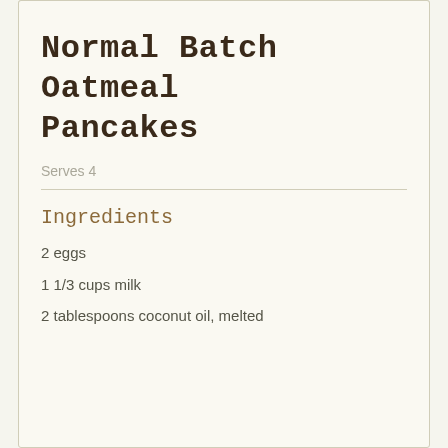5. Stir in the chocolate chips; the cook the pancakes on a buttered skillet.
Normal Batch Oatmeal Pancakes
Serves 4
Ingredients
2 eggs
1 1/3 cups milk
2 tablespoons coconut oil, melted